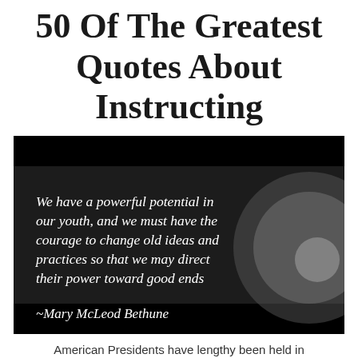50 Of The Greatest Quotes About Instructing
[Figure (photo): Dark/black background image with italic white script text of a Mary McLeod Bethune quote: 'We have a powerful potential in our youth, and we must have the courage to change old ideas and practices so that we may direct their power toward good ends ~Mary McLeod Bethune'. A circular grey/light graphic is partially visible on the right side.]
American Presidents have lengthy been held in